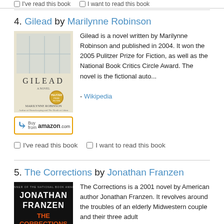☐ I've read this book   ☐ I want to read this book
4. Gilead by Marilynne Robinson
[Figure (photo): Book cover of Gilead by Marilynne Robinson with Buy from amazon.com button]
Gilead is a novel written by Marilynne Robinson and published in 2004. It won the 2005 Pulitzer Prize for Fiction, as well as the National Book Critics Circle Award. The novel is the fictional auto... - Wikipedia
☐ I've read this book   ☐ I want to read this book
5. The Corrections by Jonathan Franzen
[Figure (photo): Book cover of The Corrections by Jonathan Franzen]
The Corrections is a 2001 novel by American author Jonathan Franzen. It revolves around the troubles of an elderly Midwestern couple and their three adult